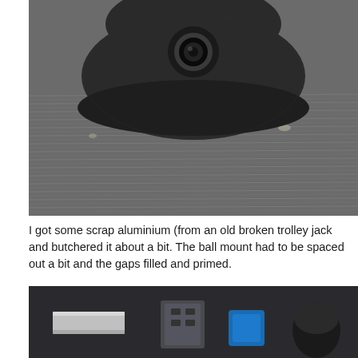[Figure (photo): Close-up photo of a black plastic ball mount/camera housing component sitting on a ridged metal (aluminium) surface. The component is dark matte black with a rounded bottom and contains a circular camera lens or ball socket in the center top.]
I got some scrap aluminium (from an old broken trolley jack and butchered it about a bit. The ball mount had to be spaced out a bit and the gaps filled and primed.
[Figure (photo): Close-up photo showing metal parts and components including a rectangular aluminium bar/spacer piece on the left, a bracket with screws in the center, and a blue component and a black cylindrical piece on the right, arranged on a dark surface.]